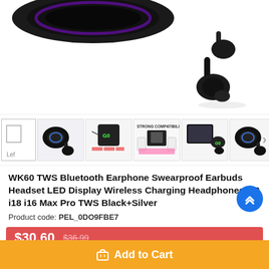[Figure (photo): Main product image showing WK60 TWS Bluetooth earbuds (black) with wireless charging case on a dark circular charging pad background]
[Figure (photo): Thumbnail gallery row showing multiple product images of the WK60 TWS earbuds from different angles and features]
WK60 TWS Bluetooth Earphone Swearproof Earbuds Headset LED Display Wireless Charging Headphones i12 i18 i16 Max Pro TWS Black+Silver
Product code: PEL_0DO9FBE7
$30.60  $36.99
Add to Cart